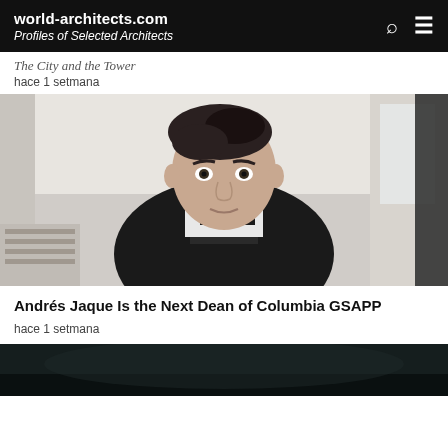world-architects.com
Profiles of Selected Architects
The City and the Tower
hace 1 setmana
[Figure (photo): Portrait of a man with dark hair wearing a black sweater and black-and-white houndstooth collar, standing in what appears to be an architecture studio or office space.]
Andrés Jaque Is the Next Dean of Columbia GSAPP
hace 1 setmana
[Figure (photo): Bottom strip of another article image, dark toned.]